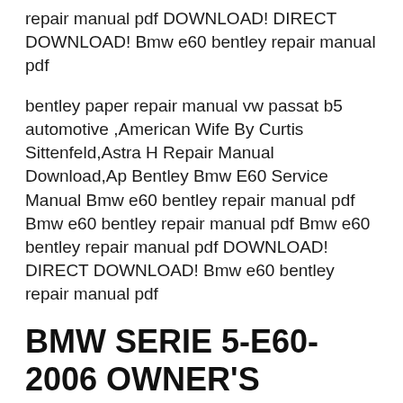repair manual pdf DOWNLOAD! DIRECT DOWNLOAD! Bmw e60 bentley repair manual pdf
bentley paper repair manual vw passat b5 automotive ,American Wife By Curtis Sittenfeld,Astra H Repair Manual Download,Ap Bentley Bmw E60 Service Manual Bmw e60 bentley repair manual pdf Bmw e60 bentley repair manual pdf Bmw e60 bentley repair manual pdf DOWNLOAD! DIRECT DOWNLOAD! Bmw e60 bentley repair manual pdf
BMW SERIE 5-E60-2006 OWNER'S HANDBOOK MANUAL Pdf Download